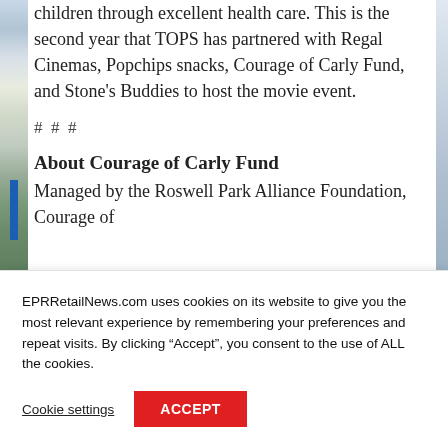children through excellent health care. This is the second year that TOPS has partnered with Regal Cinemas, Popchips snacks, Courage of Carly Fund, and Stone's Buddies to host the movie event.
# # #
About Courage of Carly Fund
Managed by the Roswell Park Alliance Foundation, Courage of
EPRRetailNews.com uses cookies on its website to give you the most relevant experience by remembering your preferences and repeat visits. By clicking “Accept”, you consent to the use of ALL the cookies.